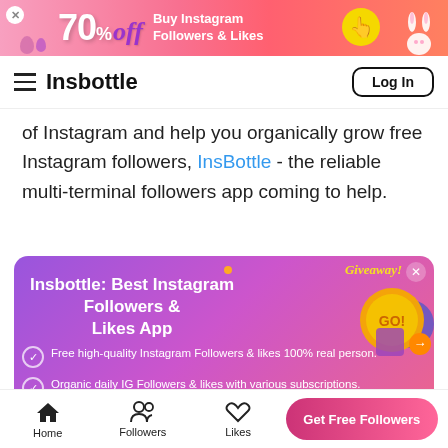[Figure (screenshot): Pink/red banner ad: 70% off, Buy Instagram Followers & Likes, with Easter egg decorations and a yellow button]
Insbottle  Log In
of Instagram and help you organically grow free Instagram followers, InsBottle - the reliable multi-terminal followers app coming to help.
[Figure (screenshot): Insbottle app ad card with purple-pink gradient background. Title: Insbottle: Best Instagram Followers & Likes App. Bullet points: Free high-quality Instagram Followers & likes 100% real person. Organic daily IG Followers & likes with various subscriptions. Instant delivery and 24/7 customer support. Giveaway badge and coin graphic on right.]
Home  Followers  Likes  Get Free Followers